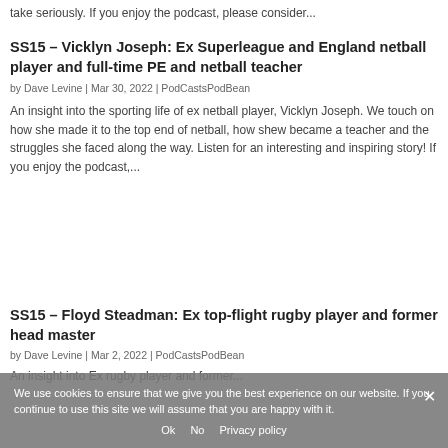take seriously. If you enjoy the podcast, please consider...
SS15 – Vicklyn Joseph: Ex Superleague and England netball player and full-time PE and netball teacher
by Dave Levine | Mar 30, 2022 | PodCastsPodBean
An insight into the sporting life of ex netball player, Vicklyn Joseph. We touch on how she made it to the top end of netball, how shew became a teacher and the struggles she faced along the way. Listen for an interesting and inspiring story! If you enjoy the podcast,...
SS15 – Floyd Steadman: Ex top-flight rugby player and former head master
by Dave Levine | Mar 2, 2022 | PodCastsPodBean
An insight into Ex rugby player and former...
We use cookies to ensure that we give you the best experience on our website. If you continue to use this site we will assume that you are happy with it.